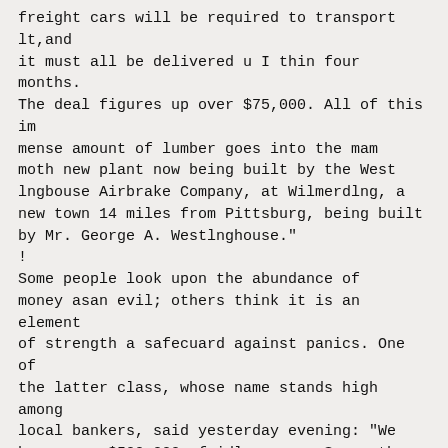freight cars will be required to transport lt,and it must all be delivered u I thin four months. The deal figures up over $75,000. All of this im mense amount of lumber goes into the mam moth new plant now being built by the West lngbouse Airbrake Company, at Wilmerdlng, a new town 14 miles from Pittsburg, being built by Mr. George A. Westlnghouse."
!
Some people look upon the abundance of money asan evil; others think it is an element of strength a safecuard against panics. One of the latter class, whose name stands high among local bankers, said yesterday evening: "We have over $500,000 of idle money. Some other banks in the city have more, some less. While wenonldliketohave it employed and Dring. lng something in it will do no harm while lying in our vaults, and we will have it when business begins to expand and the big crops begin to move. The fact of so much idle money in the country indicates a widespread conservative sentiment and an absence of the speculative craze, which are an assurance of a sound finan